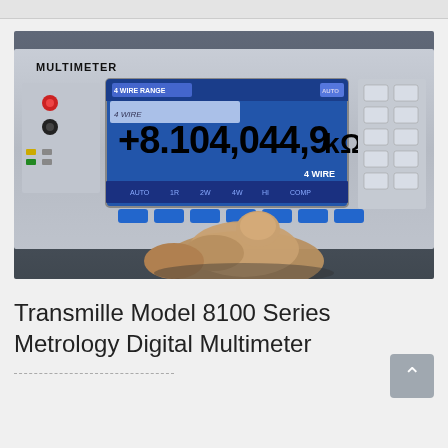[Figure (photo): Close-up photo of a Transmille Model 8100 Series Metrology Digital Multimeter showing the blue LCD display reading '+8.104,044,9 kΩ' with a 4-WIRE measurement mode label. A hand is pressing one of the front panel buttons. The instrument has 'MULTIMETER' labeled at the top-left, probe inputs on the left, a large blue numeric display in the center, and a keypad on the right.]
Transmille Model 8100 Series Metrology Digital Multimeter